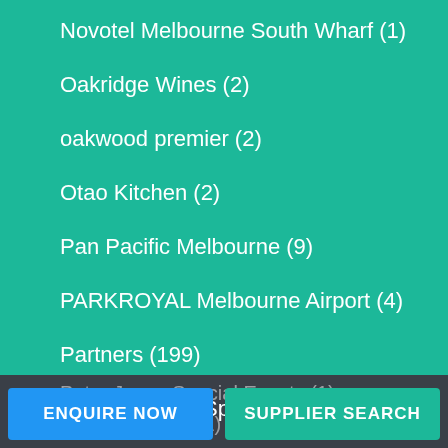Novotel Melbourne South Wharf (1)
Oakridge Wines (2)
oakwood premier (2)
Otao Kitchen (2)
Pan Pacific Melbourne (9)
PARKROYAL Melbourne Airport (4)
Partners (199)
Peninsula Hot Springs (5)
Peter Jones Special Events (1)
Peter Rowland (1)